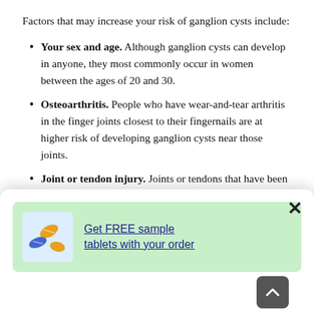Factors that may increase your risk of ganglion cysts include:
Your sex and age. Although ganglion cysts can develop in anyone, they most commonly occur in women between the ages of 20 and 30.
Osteoarthritis. People who have wear-and-tear arthritis in the finger joints closest to their fingernails are at higher risk of developing ganglion cysts near those joints.
Joint or tendon injury. Joints or tendons that have been injured in the past are more likely to develop ganglion cysts in the future.
Treatment for Ganglion Cyst
[Figure (other): Advertisement popup overlay showing a green banner with pill tablet image and text 'Get FREE sample tablets with your order', with a close (X) button and a scroll-up arrow button]
disappear in time, if you do not have symptoms, your doct